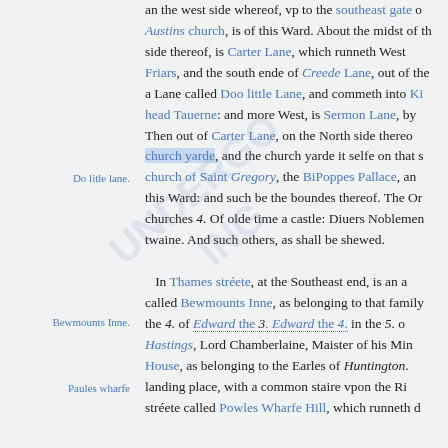an the west side whereof, vp to the southeast gate of Austins church, is of this Ward. About the midst of the side thereof, is Carter Lane, which runneth West Friars, and the south ende of Creede Lane, out of the a Lane called Doo little Lane, and commeth into Ki head Tauerne: and more West, is Sermon Lane, by Then out of Carter Lane, on the North side there church yarde, and the church yarde it selfe on that s church of Saint Gregory, the BiPoppes Pallace, an this Ward: and such be the boundes thereof. The Or churches 4. Of olde time a castle: Diuers Noblemen twaine. And such others, as shall be shewed.
In Thames stréete, at the Southeast end, is an a called Bewmounts Inne, as belonging to that family the 4. of Edward the 3. Edward the 4. in the 5. o Hastings, Lord Chamberlaine, Maister of his Min House, as belonging to the Earles of Huntington. landing place, with a common staire vpon the Ri stréete called Powles Wharfe Hill, which runneth d
Do litle lane.
Bewmounts Inne.
Paules wharfe